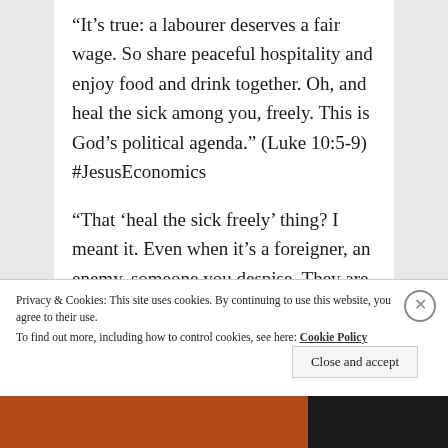“It’s true: a labourer deserves a fair wage. So share peaceful hospitality and enjoy food and drink together. Oh, and heal the sick among you, freely. This is God’s political agenda.” (Luke 10:5-9) #JesusEconomics
“That ‘heal the sick freely’ thing? I meant it. Even when it’s a foreigner, an enemy, someone you despise. They are
Privacy & Cookies: This site uses cookies. By continuing to use this website, you agree to their use.
To find out more, including how to control cookies, see here: Cookie Policy
Close and accept